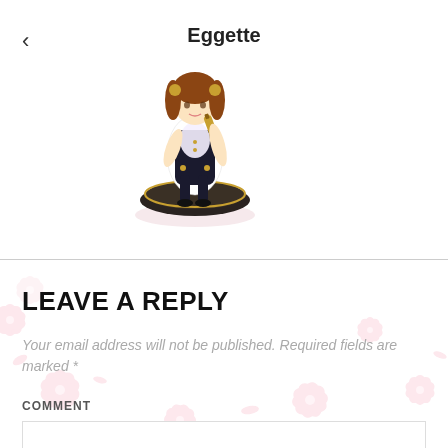< Eggette
[Figure (illustration): Anime-style figurine of a girl playing violin, sitting on a dark book/platform, with golden accessories, white background with faint pink sakura flowers]
LEAVE A REPLY
Your email address will not be published. Required fields are marked *
COMMENT